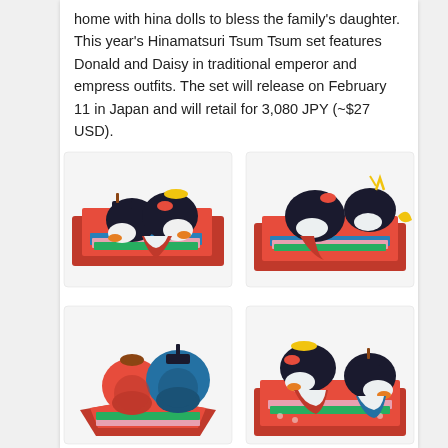home with hina dolls to bless the family's daughter. This year's Hinamatsuri Tsum Tsum set features Donald and Daisy in traditional emperor and empress outfits. The set will release on February 11 in Japan and will retail for 3,080 JPY (~$27 USD).
[Figure (photo): Four photos of Hinamatsuri Tsum Tsum Donald and Daisy plush sets in traditional emperor and empress outfits on red mats, shown from different angles in a 2x2 grid.]